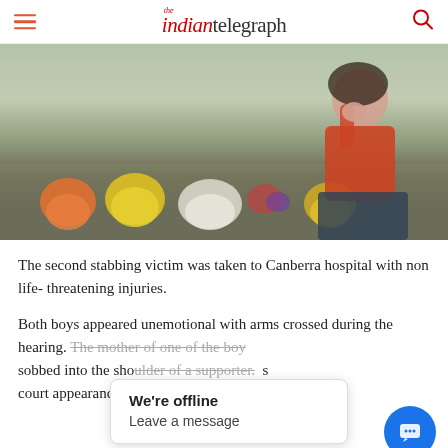the indian telegraph
[Figure (photo): A woman kneeling on grass in front of flower tributes, covering her face with her hands, wearing a red top and dark pants. Multiple bouquets of flowers including orange, yellow, and white flowers are laid out in front of her.]
The second stabbing victim was taken to Canberra hospital with non life- threatening injuries.
Both boys appeared unemotional with arms crossed during the hearing. The mother of one of the boys sobbed into the shoulder of a supporter. s court appearance.